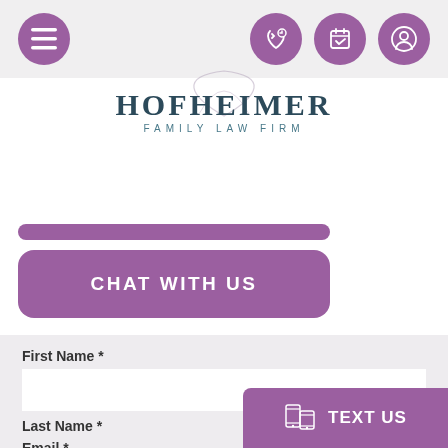[Figure (screenshot): Mobile navigation bar with hamburger menu icon on left and three circular purple icons (phone, calendar, profile) on right]
[Figure (logo): Hofheimer Family Law Firm logo with decorative script H and serif text HOFHEIMER above FAMILY LAW FIRM]
[Figure (other): Purple rounded rectangle button (thin, partial)]
[Figure (other): Purple rounded rectangle button labeled CHAT WITH US]
First Name *
Last Name *
Email *
[Figure (other): Purple TEXT US button with mobile device icon, fixed at bottom right]